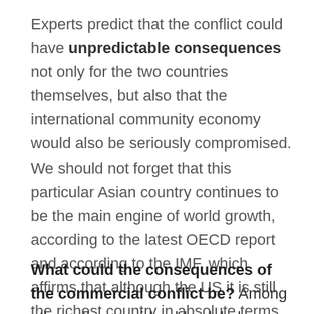Experts predict that the conflict could have unpredictable consequences not only for the two countries themselves, but also that the international community economy would also be seriously compromised. We should not forget that this particular Asian country continues to be the main engine of world growth, according to the latest OECD report and according to the IMF, which affirms that although the US it is still the richest country in absolute terms, China has been the leader since 2016 as regards parity of power, the best criterion to compare national economies.
What could the consequences of the commercial conflict be? Among others, the considerable global